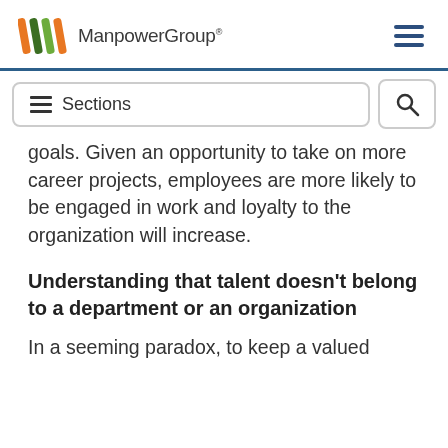ManpowerGroup
goals. Given an opportunity to take on more career projects, employees are more likely to be engaged in work and loyalty to the organization will increase.
Understanding that talent doesn’t belong to a department or an organization
In a seeming paradox, to keep a valued